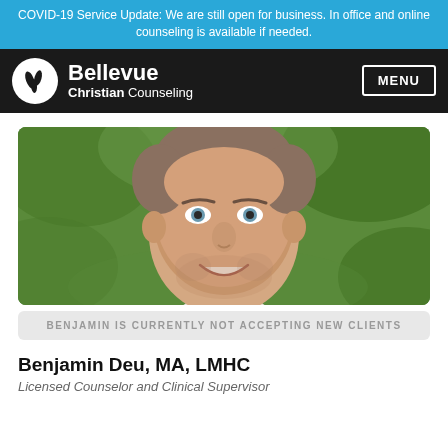COVID-19 Service Update: We are still open for business. In office and online counseling is available if needed.
[Figure (logo): Bellevue Christian Counseling logo and navigation bar with MENU button]
[Figure (photo): Portrait photo of Benjamin Deu, a middle-aged man with blue eyes and a beard, smiling, with green foliage background]
BENJAMIN IS CURRENTLY NOT ACCEPTING NEW CLIENTS
Benjamin Deu, MA, LMHC
Licensed Counselor and Clinical Supervisor